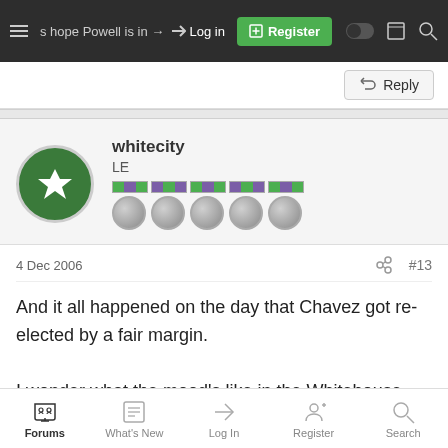Let's hope Powell is in → Log in [Register]
Reply
whitecity
LE
4 Dec 2006  #13
And it all happened on the day that Chavez got re-elected by a fair margin.

I wonder what the mood's like in the Whitehouse tonight? 😛
Forums  What's New  Log In  Register  Search